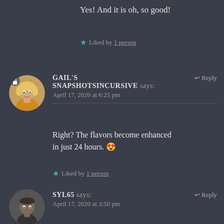Yes! And it is oh, so good!
★ Liked by 1 person
GAIL'S SNAPSHOTSINCURSIVE says: April 17, 2020 at 6:25 pm
Right? The flavors become enhanced in just 24 hours. 😍
★ Liked by 1 person
SYL65 says: April 17, 2020 at 3:50 pm